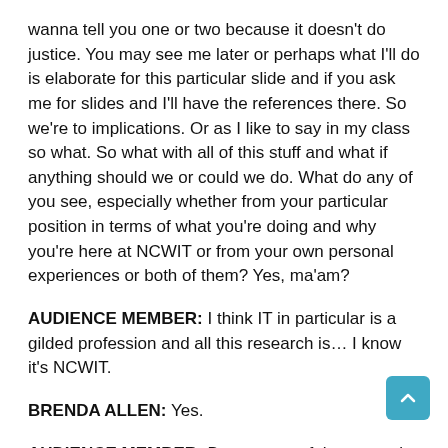wanna tell you one or two because it doesn't do justice. You may see me later or perhaps what I'll do is elaborate for this particular slide and if you ask me for slides and I'll have the references there. So we're to implications. Or as I like to say in my class so what. So what with all of this stuff and what if anything should we or could we do. What do any of you see, especially whether from your particular position in terms of what you're doing and why you're here at NCWIT or from your own personal experiences or both of them? Yes, ma'am?
AUDIENCE MEMBER: I think IT in particular is a gilded profession and all this research is… I know it's NCWIT.
BRENDA ALLEN: Yes.
AUDIENCE MEMBER: But one out of three people in this world is either Indian or Chinese.